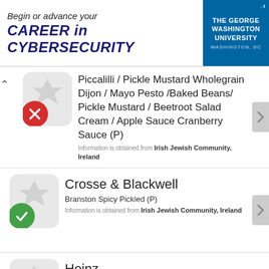[Figure (screenshot): Advertisement banner for The George Washington University Cybersecurity program. Text reads: 'Begin or advance your CAREER in CYBERSECURITY' with GWU logo in blue on the right.]
Piccalilli / Pickle Mustard Wholegrain Dijon / Mayo Pesto /Baked Beans/ Pickle Mustard / Beetroot Salad Cream / Apple Sauce Cranberry Sauce (P)
Information is obtained from Irish Jewish Community, Ireland
Crosse & Blackwell
Branston Spicy Pickled (P)
Information is obtained from Irish Jewish Community, Ireland
Heinz
*Ketchup Tomato Reduced Salt & Sugar (P)
Information is obtained from Irish Jewish